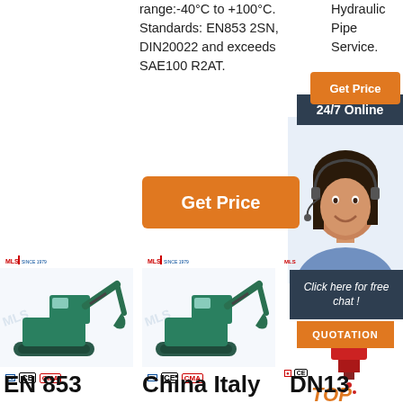range:-40°C to +100°C. Standards: EN853 2SN, DIN20022 and exceeds SAE100 R2AT.
Hydraulic Pipe Service.
[Figure (other): Orange Get Price button (right column)]
[Figure (other): 24/7 Online dark banner]
[Figure (photo): Customer service representative with headset, smiling]
[Figure (other): Orange Get Price button (center column)]
[Figure (photo): Teal mini excavator product image with MLS SINCE 1979 logo, left]
[Figure (photo): Teal mini excavator product image with MLS SINCE 1979 logo, center]
[Figure (other): Partial third product column with MLS logo and certifications]
[Figure (other): Click here for free chat dark box]
[Figure (other): QUOTATION orange button]
[Figure (other): Red hydraulic device / TOP label at bottom right]
EN 853
China Italy
DN13